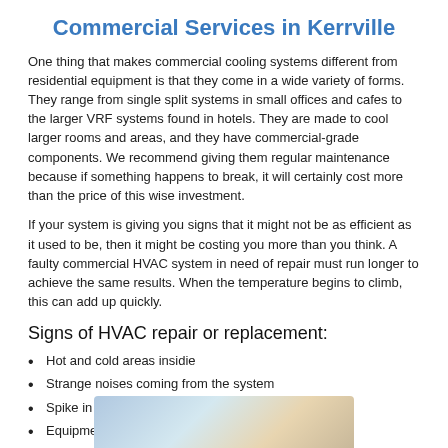Commercial Services in Kerrville
One thing that makes commercial cooling systems different from residential equipment is that they come in a wide variety of forms. They range from single split systems in small offices and cafes to the larger VRF systems found in hotels. They are made to cool larger rooms and areas, and they have commercial-grade components. We recommend giving them regular maintenance because if something happens to break, it will certainly cost more than the price of this wise investment.
If your system is giving you signs that it might not be as efficient as it used to be, then it might be costing you more than you think. A faulty commercial HVAC system in need of repair must run longer to achieve the same results. When the temperature begins to climb, this can add up quickly.
Signs of HVAC repair or replacement:
Hot and cold areas insidie
Strange noises coming from the system
Spike in energy bills
Equipment older than its intended life expectancy
[Figure (photo): Partial photo visible at the bottom of the page showing an outdoor HVAC unit or related equipment]